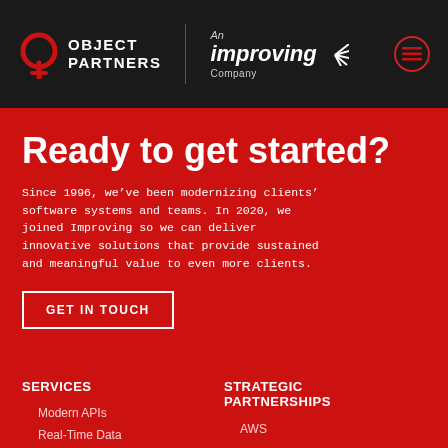[Figure (logo): Object Partners logo with 'An Improving Company' text and menu button on dark header]
Ready to get started?
Since 1996, we’ve been modernizing clients’ software systems and teams. In 2020, we joined Improving so we can deliver innovative solutions that provide sustained and meaningful value to even more clients.
GET IN TOUCH
SERVICES
Modern APIs
Real-Time Data
STRATEGIC PARTNERSHIPS
AWS